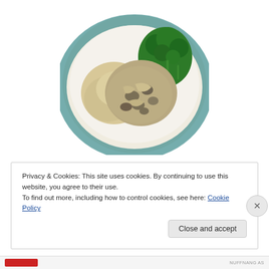[Figure (photo): Overhead photo of a dinner plate with chicken in mushroom cream sauce, mashed potatoes, and green broccoli/broccolini on a white plate with teal rim]
Privacy & Cookies: This site uses cookies. By continuing to use this website, you agree to their use.
To find out more, including how to control cookies, see here: Cookie Policy
Close and accept